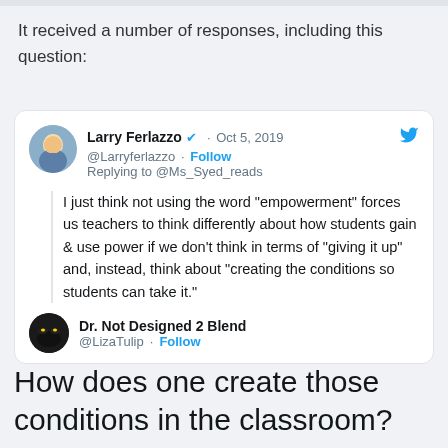It received a number of responses, including this question:
[Figure (screenshot): Embedded tweet from Larry Ferlazzo (@Larryferlazzo) dated Oct 5, 2019, verified account, replying to @Ms_Syed_reads. Tweet text: I just think not using the word "empowerment" forces us teachers to think differently about how students gain & use power if we don't think in terms of "giving it up" and, instead, think about "creating the conditions so students can take it." Below is a reply header showing Dr. Not Designed 2 Blend @LizaTulip with Follow link.]
How does one create those conditions in the classroom?